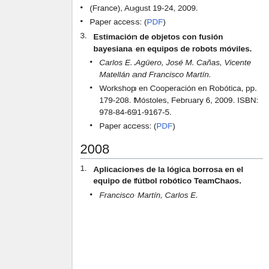(France), August 19-24, 2009.
Paper access: (PDF)
3. Estimación de objetos con fusión bayesiana en equipos de robots móviles.
Carlos E. Agüero, José M. Cañas, Vicente Matellán and Francisco Martín.
Workshop en Cooperación en Robótica, pp. 179-208. Móstoles, February 6, 2009. ISBN: 978-84-691-9167-5.
Paper access: (PDF)
2008
1. Aplicaciones de la lógica borrosa en el equipo de fútbol robótico TeamChaos.
Francisco Martín, Carlos E.